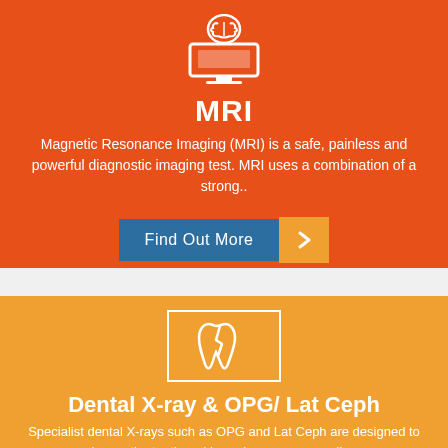[Figure (illustration): White MRI brain/head icon on orange-red background with monitor/tablet device]
MRI
Magnetic Resonance Imaging (MRI) is a safe, painless and powerful diagnostic imaging test. MRI uses a combination of a strong..
[Figure (illustration): Find Out More button with blue background and orange arrow button]
[Figure (illustration): White outlined dental/tooth icon with crack on orange background inside a white-bordered square]
Dental X-ray & OPG/ Lat Ceph
Specialist dental X-rays such as OPG and Lat Ceph are designed to image the teeth and jaw, plus any surrounding